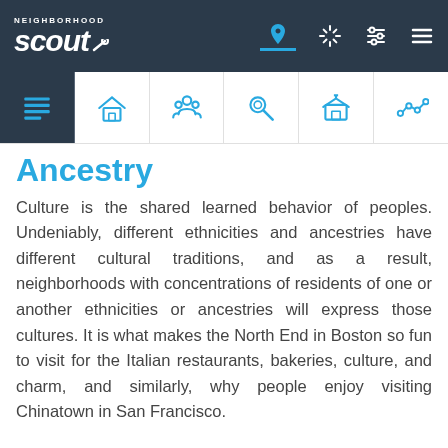[Figure (screenshot): Neighborhood Scout website top navigation bar with logo and icons]
[Figure (screenshot): Secondary navigation row with category icons: overview, housing, demographics, crime, schools, market trends]
Ancestry
Culture is the shared learned behavior of peoples. Undeniably, different ethnicities and ancestries have different cultural traditions, and as a result, neighborhoods with concentrations of residents of one or another ethnicities or ancestries will express those cultures. It is what makes the North End in Boston so fun to visit for the Italian restaurants, bakeries, culture, and charm, and similarly, why people enjoy visiting Chinatown in San Francisco.